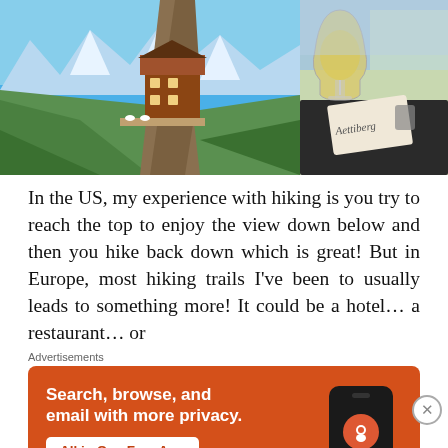[Figure (photo): Two travel photos side by side: left shows a Swiss mountain chalet built into a cliff face with snowy Alps and blue sky; right shows a wine glass and a menu/card on a table at an outdoor restaurant or viewpoint.]
In the US, my experience with hiking is you try to reach the top to enjoy the view down below and then you hike back down which is great! But in Europe, most hiking trails I've been to usually leads to something more! It could be a hotel… a restaurant… or
Advertisements
[Figure (screenshot): DuckDuckGo advertisement banner with orange background. Text reads: 'Search, browse, and email with more privacy. All in One Free App' with a phone graphic showing the DuckDuckGo logo and name.]